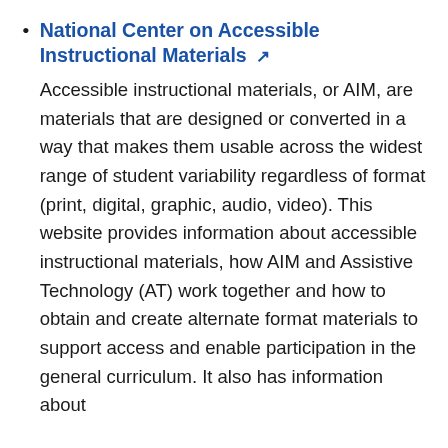National Center on Accessible Instructional Materials [external link] Accessible instructional materials, or AIM, are materials that are designed or converted in a way that makes them usable across the widest range of student variability regardless of format (print, digital, graphic, audio, video). This website provides information about accessible instructional materials, how AIM and Assistive Technology (AT) work together and how to obtain and create alternate format materials to support access and enable participation in the general curriculum. It also has information about